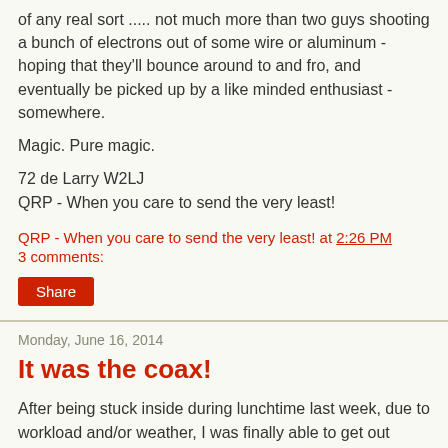of any real sort ..... not much more than two guys shooting a bunch of electrons out of some wire or aluminum - hoping that they'll bounce around to and fro, and eventually be picked up by a like minded enthusiast - somewhere.
Magic. Pure magic.
72 de Larry W2LJ
QRP - When you care to send the very least!
QRP - When you care to send the very least! at 2:26 PM
3 comments:
Share
Monday, June 16, 2014
It was the coax!
After being stuck inside during lunchtime last week, due to workload and/or weather, I was finally able to get out today. This was the first opportunity (if you don't count the